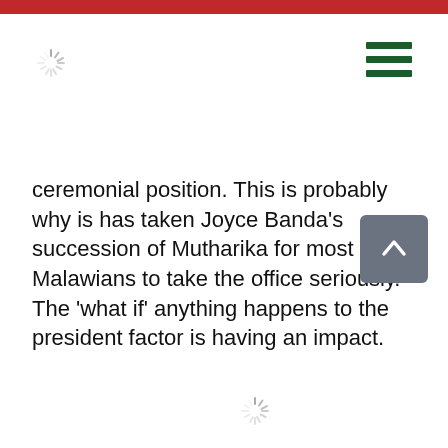ceremonial position. This is probably why is has taken Joyce Banda's succession of Mutharika for most Malawians to take the office seriously. The 'what if' anything happens to the president factor is having an impact.